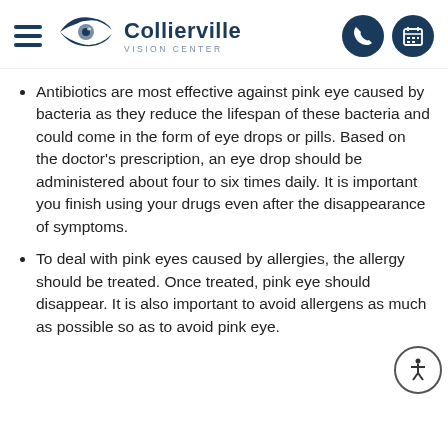Collierville Vision Center
Antibiotics are most effective against pink eye caused by bacteria as they reduce the lifespan of these bacteria and could come in the form of eye drops or pills. Based on the doctor's prescription, an eye drop should be administered about four to six times daily. It is important you finish using your drugs even after the disappearance of symptoms.
To deal with pink eyes caused by allergies, the allergy should be treated. Once treated, pink eye should disappear. It is also important to avoid allergens as much as possible so as to avoid pink eye.